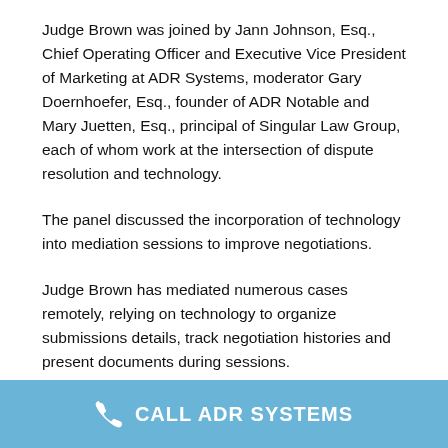Judge Brown was joined by Jann Johnson, Esq., Chief Operating Officer and Executive Vice President of Marketing at ADR Systems, moderator Gary Doernhoefer, Esq., founder of ADR Notable and Mary Juetten, Esq., principal of Singular Law Group, each of whom work at the intersection of dispute resolution and technology.
The panel discussed the incorporation of technology into mediation sessions to improve negotiations.
Judge Brown has mediated numerous cases remotely, relying on technology to organize submissions details, track negotiation histories and present documents during sessions.
“Even basic technology can make mediation a multi-media
CALL ADR SYSTEMS